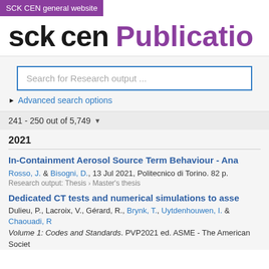SCK CEN general website
sck cen Publications
[Figure (screenshot): Search bar with placeholder text 'Search for Research output ...' and blue border]
▶ Advanced search options
241 - 250 out of 5,749 ▼
2021
In-Containment Aerosol Source Term Behaviour - Ana
Rosso, J. & Bisogni, D., 13 Jul 2021, Politecnico di Torino. 82 p.
Research output: Thesis › Master's thesis
Dedicated CT tests and numerical simulations to asse
Dulieu, P., Lacroix, V., Gérard, R., Brynk, T., Uytdenhouwen, I. & Chaouadi, R Volume 1: Codes and Standards. PVP2021 ed. ASME - The American Societ